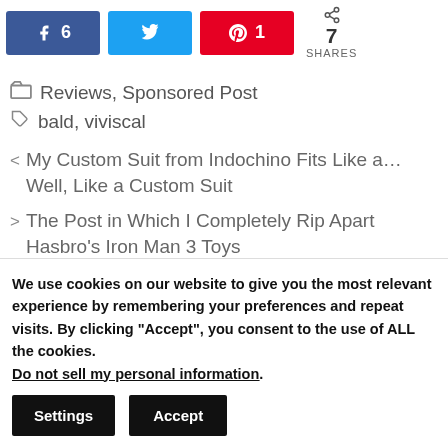[Figure (other): Social share buttons: Facebook (6 shares), Twitter, Pinterest (1 share), and a total shares count of 7]
Reviews, Sponsored Post
bald, viviscal
< My Custom Suit from Indochino Fits Like a... Well, Like a Custom Suit
> The Post in Which I Completely Rip Apart Hasbro's Iron Man 3 Toys
We use cookies on our website to give you the most relevant experience by remembering your preferences and repeat visits. By clicking "Accept", you consent to the use of ALL the cookies. Do not sell my personal information.
Settings
Accept